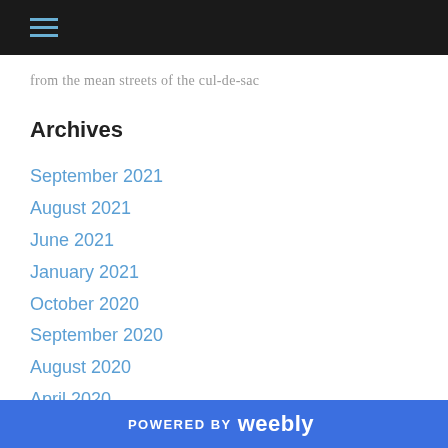[hamburger menu icon]
from the mean streets of the cul-de-sac
Archives
September 2021
August 2021
June 2021
January 2021
October 2020
September 2020
August 2020
April 2020
March 2020
January 2020
POWERED BY weebly